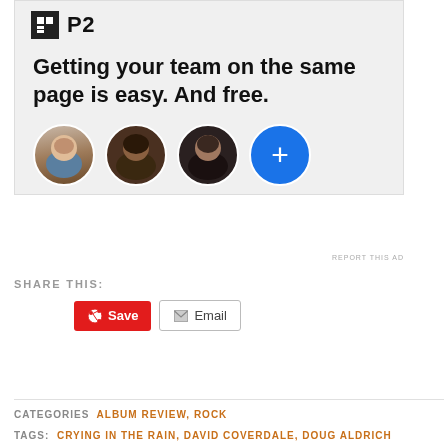[Figure (screenshot): P2 advertisement banner showing logo, headline 'Getting your team on the same page is easy. And free.' with three avatar photos and a blue plus button]
REPORT THIS AD
SHARE THIS:
Save | Email
CATEGORIES  ALBUM REVIEW, ROCK
TAGS:  CRYING IN THE RAIN, DAVID COVERDALE, DOUG ALDRICH